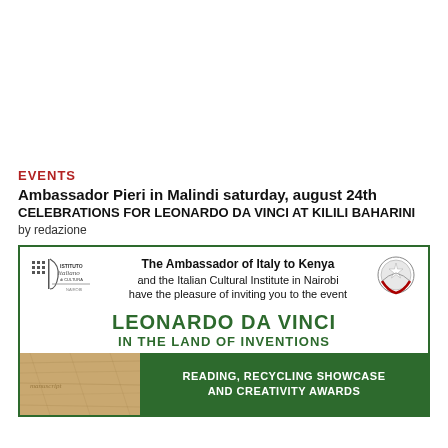EVENTS
Ambassador Pieri in Malindi saturday, august 24th
CELEBRATIONS FOR LEONARDO DA VINCI AT KILILI BAHARINI
by redazione
[Figure (illustration): Invitation flyer from the Italian Cultural Institute in Nairobi showing logos, text about Leonardo Da Vinci in the Land of Inventions event, and a green promotional box for Reading, Recycling Showcase and Creativity Awards]